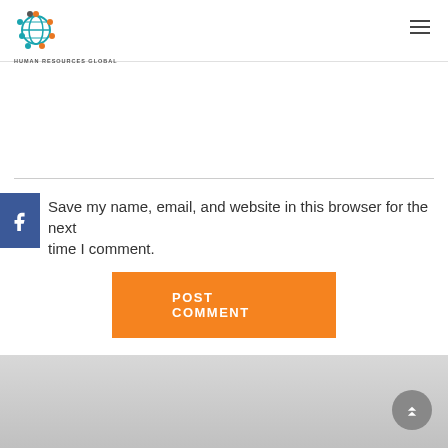HUMAN RESOURCES GLOBAL
Save my name, email, and website in this browser for the next time I comment.
POST COMMENT
[Figure (other): Scroll to top circular button with double up arrow in grey, positioned at bottom right of page footer area]